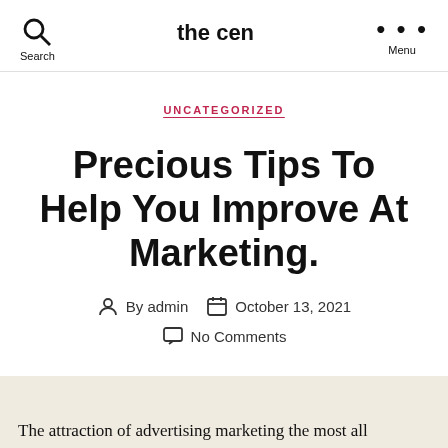the cen
UNCATEGORIZED
Precious Tips To Help You Improve At Marketing.
By admin  October 13, 2021  No Comments
The attraction of advertising marketing the most all...